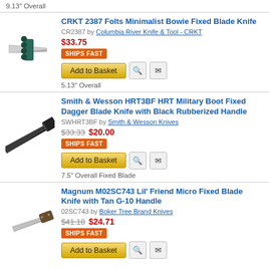9.13" Overall
CRKT 2387 Folts Minimalist Bowie Fixed Blade Knife
CR2387 by Columbia River Knife & Tool - CRKT
$33.75
SHIPS FAST
Add to Basket
5.13" Overall
Smith & Wesson HRT3BF HRT Military Boot Fixed Dagger Blade Knife with Black Rubberized Handle
SWHRT3BF by Smith & Wesson Knives
$33.33  $20.00
SHIPS FAST
Add to Basket
7.5" Overall Fixed Blade
Magnum M02SC743 Lil' Friend Micro Fixed Blade Knife with Tan G-10 Handle
02SC743 by Boker Tree Brand Knives
$41.18  $24.71
SHIPS FAST
Add to Basket